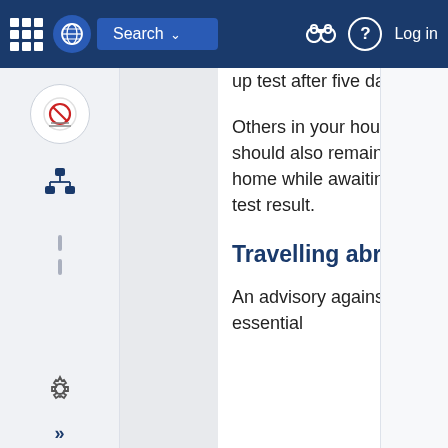Search   Log in
up test after five days.
Others in your household should also remain at home while awaiting the test result.
Travelling abroad
An advisory against non-essential